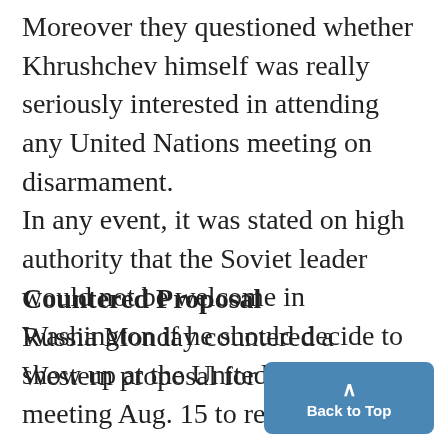Moreover they questioned whether Khrushchev himself was really seriously interested in attending any United Nations meeting on disarmament. In any event, it was stated on high authority that the Soviet leader would not be welcome in Washington if he should decide to show up at the United Nations.
Countered Proposal
Russia Monday countered a Western proposal for a commission meeting Aug. 15 to reopen